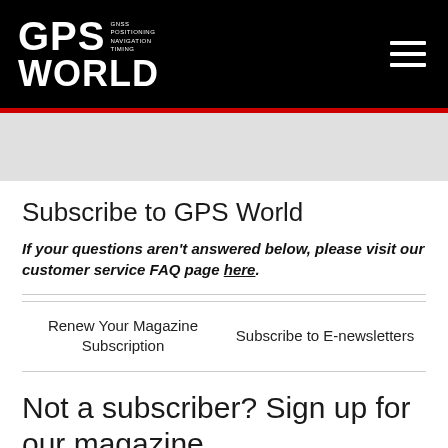GPS WORLD | GNSS POSITIONING NAVIGATION TIMING
Subscribe to GPS World
If your questions aren't answered below, please visit our customer service FAQ page here.
Renew Your Magazine Subscription
Subscribe to E-newsletters
Not a subscriber? Sign up for our magazine.